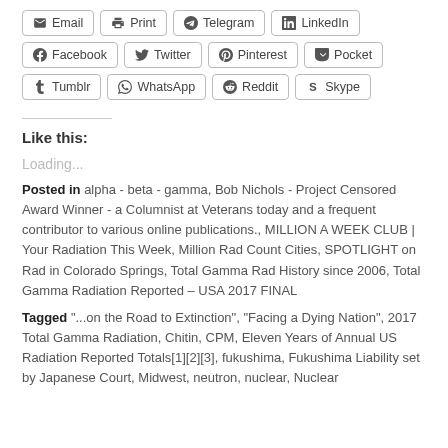Email
Print
Telegram
LinkedIn
Facebook
Twitter
Pinterest
Pocket
Tumblr
WhatsApp
Reddit
Skype
Like this:
Loading...
Posted in alpha - beta - gamma, Bob Nichols - Project Censored Award Winner - a Columnist at Veterans today and a frequent contributor to various online publications., MILLION A WEEK CLUB | Your Radiation This Week, Million Rad Count Cities, SPOTLIGHT on Rad in Colorado Springs, Total Gamma Rad History since 2006, Total Gamma Radiation Reported – USA 2017 FINAL
Tagged "...on the Road to Extinction", "Facing a Dying Nation", 2017 Total Gamma Radiation, Chitin, CPM, Eleven Years of Annual US Radiation Reported Totals[1][2][3], fukushima, Fukushima Liability set by Japanese Court, Midwest, neutron, nuclear, Nuclear